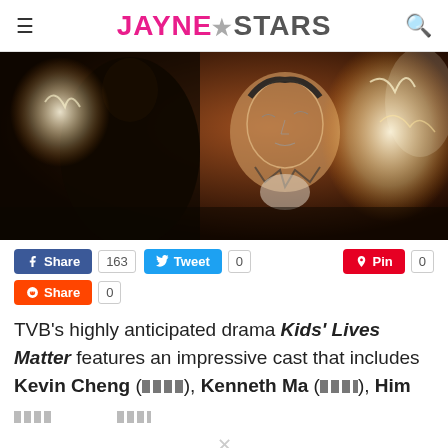JayneStars (website header with logo, menu, search)
[Figure (illustration): Animated/illustrated scene with two figures in dark tones, one facing away and one facing forward, with glowing white energy effects on an orange-brown background]
Share 163 | Tweet 0 | Pin 0 | Share 0 (social sharing buttons)
TVB's highly anticipated drama Kids' Lives Matter features an impressive cast that includes Kevin Cheng (⿰⿱⿲⿳), Kenneth Ma (⿰⿱⿲⿳), Him [...]